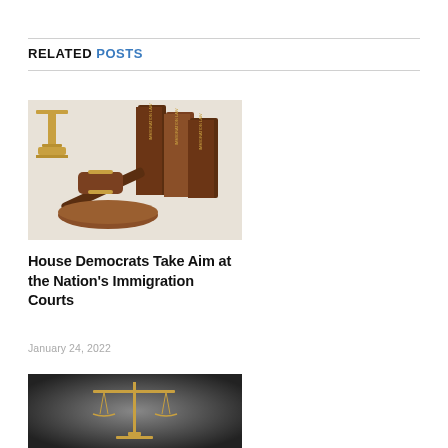RELATED POSTS
[Figure (photo): A judge's gavel on a sound block with Immigration Law books stacked in the background and a gold scale figurine, on a white surface.]
House Democrats Take Aim at the Nation's Immigration Courts
January 24, 2022
[Figure (photo): A golden scales of justice against a dark grey gradient background.]